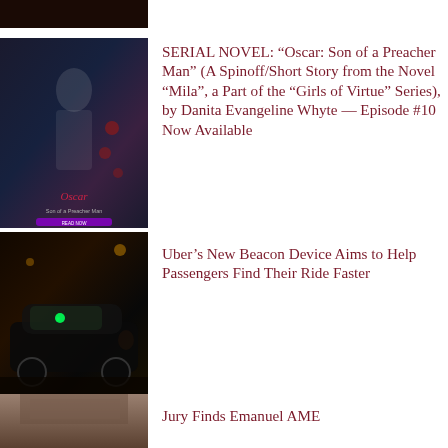[Figure (photo): Partial view of a dark image at the top of the page, partially cropped]
[Figure (photo): Book cover for Oscar: Son of a Preacher Man, dark background with stylized figure]
SERIAL NOVEL: “Oscar: Son of a Preacher Man” (A Spinoff/Short Story from the Novel “Mila”, a Part of the “Girls of Virtue” Series), by Danita Evangeline Whyte — Episode #10 Now Available
[Figure (photo): Night street photo of a car with an Uber green beacon glowing on the windshield]
Uber’s New Beacon Device Aims to Help Passengers Find Their Ride Faster
[Figure (photo): Partial photo of a person, cropped at top of frame, visible hair and forehead]
Jury Finds Emanuel AME